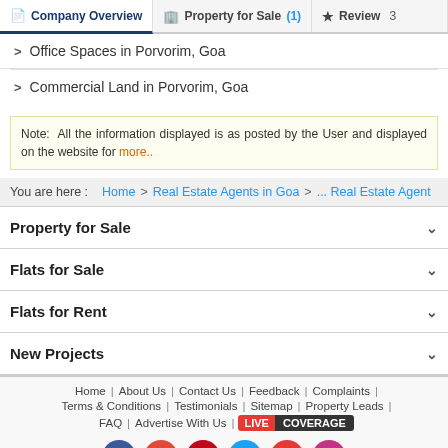Company Overview | Property for Sale (1) | Review 3
Office Spaces in Porvorim, Goa
Commercial Land in Porvorim, Goa
Note: All the information displayed is as posted by the User and displayed on the website for more..
You are here : Home > Real Estate Agents in Goa > ... Real Estate Agent
Property for Sale
Flats for Sale
Flats for Rent
New Projects
Home | About Us | Contact Us | Feedback | Complaints | Terms & Conditions | Testimonials | Sitemap | Property Leads | FAQ | Advertise With Us | LIVE COVERAGE